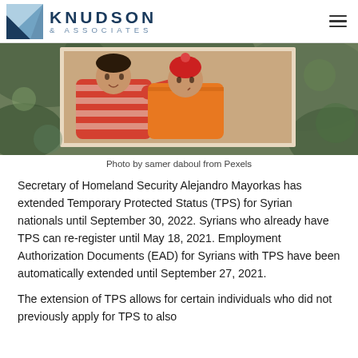KNUDSON & ASSOCIATES
[Figure (photo): Two young children outdoors, one in a striped red sweater with arm around the other, who is wearing an orange jacket, both smiling]
Photo by samer daboul from Pexels
Secretary of Homeland Security Alejandro Mayorkas has extended Temporary Protected Status (TPS) for Syrian nationals until September 30, 2022. Syrians who already have TPS can re-register until May 18, 2021. Employment Authorization Documents (EAD) for Syrians with TPS have been automatically extended until September 27, 2021.
The extension of TPS allows for certain individuals who did not previously apply for TPS to also...